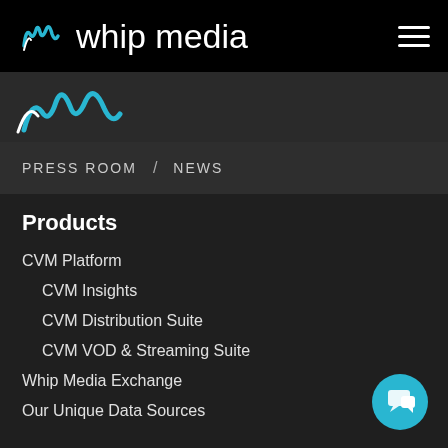[Figure (logo): Whip Media logo with stylized WM icon and text 'whip media' on black navigation bar, with hamburger menu icon on the right]
[Figure (logo): Partial Whip Media WM icon visible, cropped at top of the main content area on dark grey background]
PRESS ROOM / NEWS
Products
CVM Platform
CVM Insights
CVM Distribution Suite
CVM VOD & Streaming Suite
Whip Media Exchange
Our Unique Data Sources
Solutions By Function
Studios & Distributors
Licensing